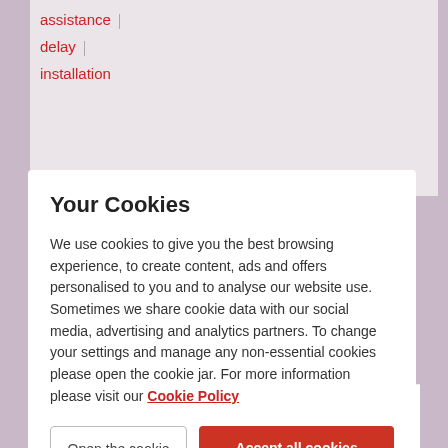assistance
delay
installation
Your Cookies
We use cookies to give you the best browsing experience, to create content, ads and offers personalised to you and to analyse our website use. Sometimes we share cookie data with our social media, advertising and analytics partners. To change your settings and manage any non-essential cookies please open the cookie jar. For more information please visit our Cookie Policy
Open the cookie jar
Accept all cookies
On Paul_DN
Forum Team
Message 2 of 8
Flag for a moderator
Re: Installation nightmare
on 01-09-2021 19:55
Hi hansen628,